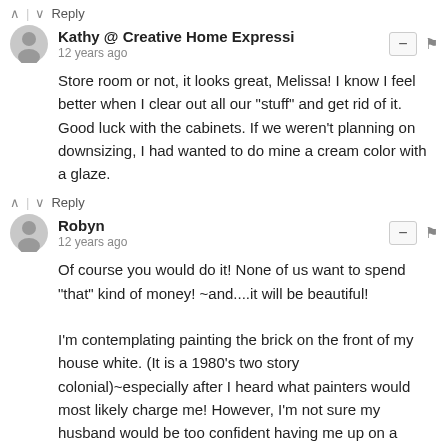^ | v Reply
Kathy @ Creative Home Expressi
12 years ago
Store room or not, it looks great, Melissa! I know I feel better when I clear out all our "stuff" and get rid of it. Good luck with the cabinets. If we weren't planning on downsizing, I had wanted to do mine a cream color with a glaze.
^ | v Reply
Robyn
12 years ago
Of course you would do it! None of us want to spend "that" kind of money! ~and....it will be beautiful!

I'm contemplating painting the brick on the front of my house white. (It is a 1980's two story colonial)~especially after I heard what painters would most likely charge me! However, I'm not sure my husband would be too confident having me up on a ladder! I seriously considered painting the bottom half, and hiring someone to do the top half!!!lol